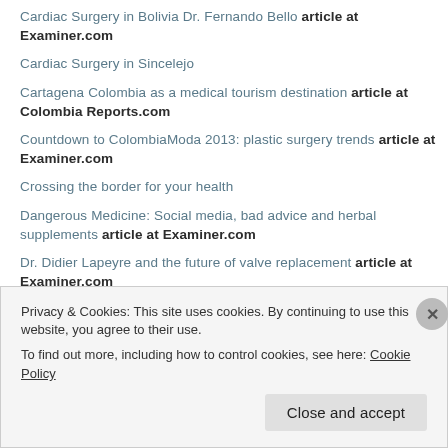Cardiac Surgery in Bolivia Dr. Fernando Bello article at Examiner.com
Cardiac Surgery in Sincelejo
Cartagena Colombia as a medical tourism destination article at Colombia Reports.com
Countdown to ColombiaModa 2013: plastic surgery trends article at Examiner.com
Crossing the border for your health
Dangerous Medicine: Social media, bad advice and herbal supplements article at Examiner.com
Dr. Didier Lapeyre and the future of valve replacement article at Examiner.com
Dr. Diego Gonzalez Rivas: Changing the future of thoracic surgery
Privacy & Cookies: This site uses cookies. By continuing to use this website, you agree to their use.
To find out more, including how to control cookies, see here: Cookie Policy
Close and accept